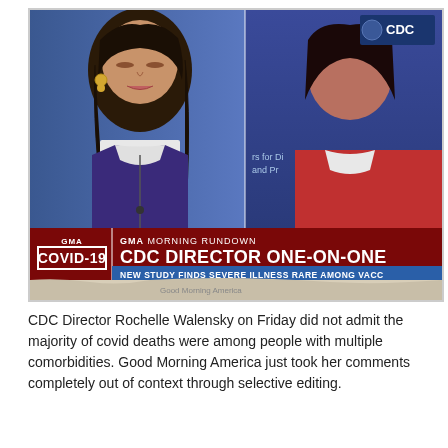[Figure (screenshot): GMA Morning Rundown TV screenshot showing two news anchors. Left anchor is a woman with dark hair wearing a blue/purple vest over white blouse, in front of a blue studio background. Right anchor is partially visible wearing red, with CDC logo visible. Lower thirds chyron reads: GMA COVID-19 | GMA MORNING RUNDOWN | CDC DIRECTOR ONE-ON-ONE | NEW STUDY FINDS SEVERE ILLNESS RARE AMONG VACC...]
CDC Director Rochelle Walensky on Friday did not admit the majority of covid deaths were among people with multiple comorbidities. Good Morning America just took her comments completely out of context through selective editing.